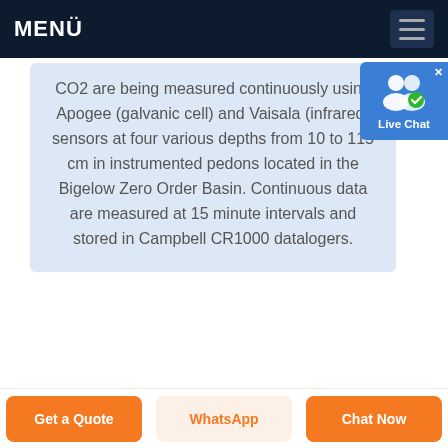MENÜ
CO2 are being measured continuously using Apogee (galvanic cell) and Vaisala (infrared) sensors at four various depths from 10 to 115 cm in instrumented pedons located in the Bigelow Zero Order Basin. Continuous data are measured at 15 minute intervals and stored in Campbell CR1000 datalogers.
[Figure (screenshot): Live Chat badge with user icon and blue background]
Get a Quote | WhatsApp | Chat Now